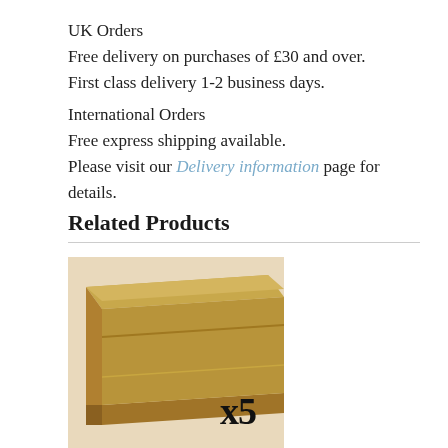UK Orders
Free delivery on purchases of £30 and over.
First class delivery 1-2 business days.
International Orders
Free express shipping available.
Please visit our Delivery information page for details.
Related Products
[Figure (photo): A gold/tan wooden moulding strip angled diagonally, with 'x5' text overlay in large bold serif font, on a beige background.]
1380PL Deep Victorian